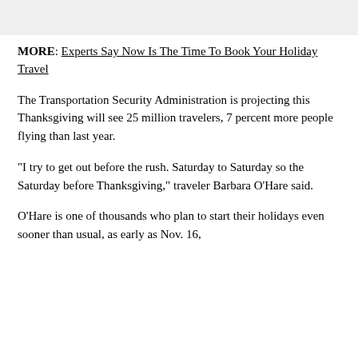MORE: Experts Say Now Is The Time To Book Your Holiday Travel
The Transportation Security Administration is projecting this Thanksgiving will see 25 million travelers, 7 percent more people flying than last year.
"I try to get out before the rush. Saturday to Saturday so the Saturday before Thanksgiving," traveler Barbara O'Hare said.
O'Hare is one of thousands who plan to start their holidays even sooner than usual, as early as Nov. 16, making the Thanksgiving travel fest 10 days until